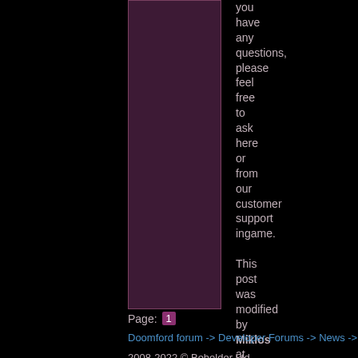[Figure (other): Dark purple vertical panel/column element on left portion of page]
you have any questions, please feel free to ask here or from our customer support ingame. This post was modified by Miklos at 2020.07.28. 16:44:06 Score: 7.70
Page: 1
Doomford forum -> Developer Forums -> News -> 2020 Su
2008-2022 © Beholder Ltd.